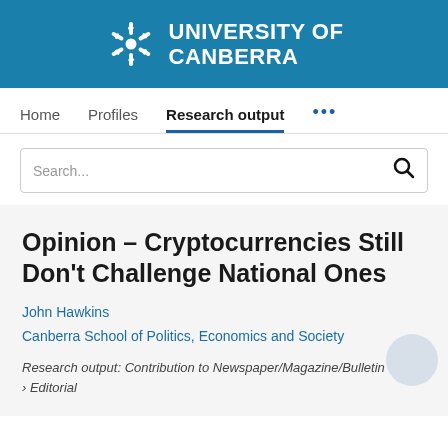[Figure (logo): University of Canberra logo — gear/snowflake icon in white with text UNIVERSITY OF CANBERRA in white on blue background]
Home   Profiles   Research output   ...
Opinion – Cryptocurrencies Still Don't Challenge National Ones
John Hawkins
Canberra School of Politics, Economics and Society
Research output: Contribution to Newspaper/Magazine/Bulletin › Editorial